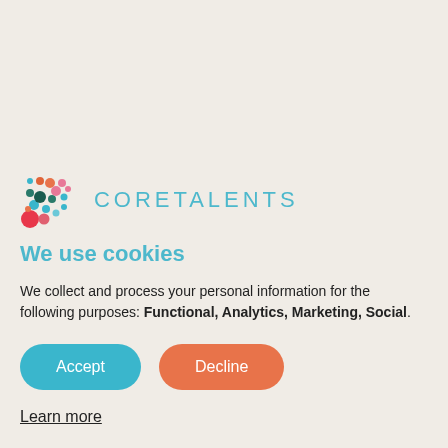[Figure (logo): CoreTalents logo with colorful dot cluster and teal CORETALENTS text]
We use cookies
We collect and process your personal information for the following purposes: Functional, Analytics, Marketing, Social.
Accept
Decline
Learn more